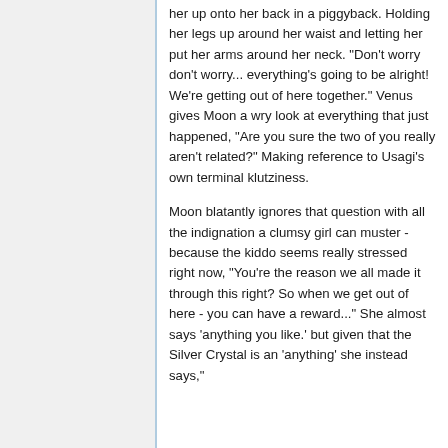her up onto her back in a piggyback. Holding her legs up around her waist and letting her put her arms around her neck. "Don't worry don't worry... everything's going to be alright! We're getting out of here together." Venus gives Moon a wry look at everything that just happened, "Are you sure the two of you really aren't related?" Making reference to Usagi's own terminal klutziness.
Moon blatantly ignores that question with all the indignation a clumsy girl can muster - because the kiddo seems really stressed right now, "You're the reason we all made it through this right? So when we get out of here - you can have a reward..." She almost says 'anything you like.' but given that the Silver Crystal is an 'anything' she instead says,"